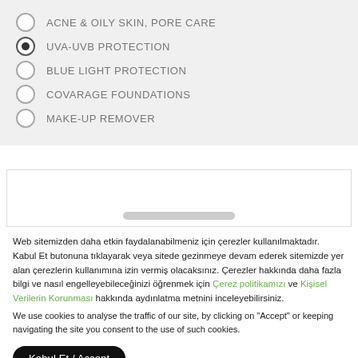ACNE & OILY SKIN, PORE CARE
UVA-UVB PROTECTION (selected)
BLUE LIGHT PROTECTION
COVARAGE FOUNDATIONS
MAKE-UP REMOVER
[Figure (screenshot): Scrollable content box with a horizontal scroll bar indicator]
Web sitemizden daha etkin faydalanabilmeniz için çerezler kullanılmaktadır. Kabul Et butonuna tıklayarak veya sitede gezinmeye devam ederek sitemizde yer alan çerezlerin kullanımına izin vermiş olacaksınız. Çerezler hakkında daha fazla bilgi ve nasıl engelleyebileceğinizi öğrenmek için Çerez politikamızı ve Kişisel Verilerin Korunması hakkında aydınlatma metnini inceleyebilirsiniz.
We use cookies to analyse the traffic of our site, by clicking on "Accept" or keeping navigating the site you consent to the use of such cookies.
Kabul Et / Accept